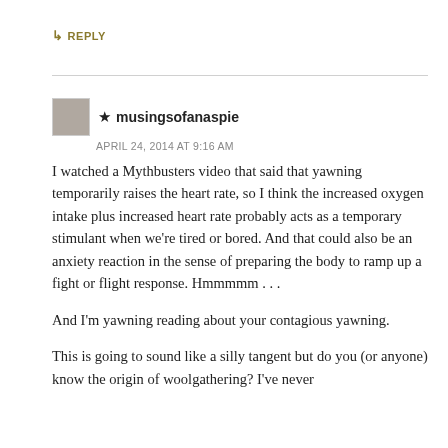↳ REPLY
★ musingsofanaspie
APRIL 24, 2014 AT 9:16 AM
I watched a Mythbusters video that said that yawning temporarily raises the heart rate, so I think the increased oxygen intake plus increased heart rate probably acts as a temporary stimulant when we're tired or bored. And that could also be an anxiety reaction in the sense of preparing the body to ramp up a fight or flight response. Hmmmmm . . .
And I'm yawning reading about your contagious yawning.
This is going to sound like a silly tangent but do you (or anyone) know the origin of woolgathering? I've never